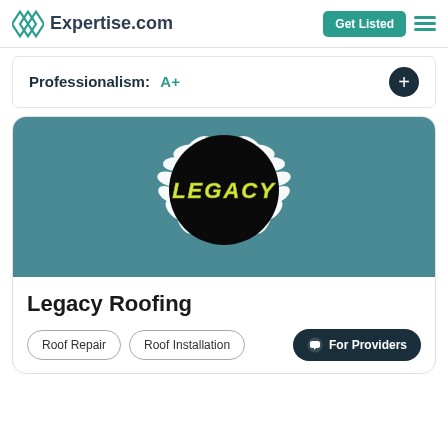Expertise.com
Professionalism: A+
[Figure (logo): Legacy Roofing company logo: black circle with yellow italic LEGACY text, surrounded by a white laurel wreath on a teal background]
Legacy Roofing
Roof Repair
Roof Installation
For Providers